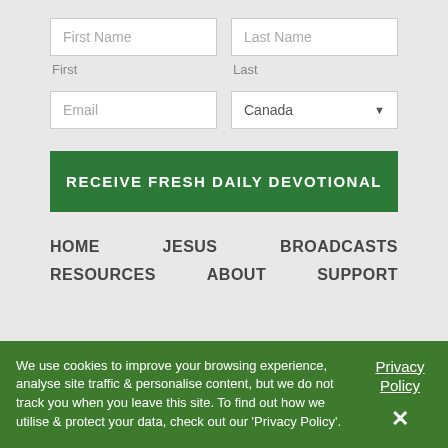First Name
Last Name
First
Last
Email
Canada
RECEIVE FRESH DAILY DEVOTIONAL
HOME
JESUS
BROADCASTS
RESOURCES
ABOUT
SUPPORT
We use cookies to improve your browsing experience, analyse site traffic & personalise content, but we do not track you when you leave this site. To find out how we utilise & protect your data, check out our 'Privacy Policy'.
Privacy Policy